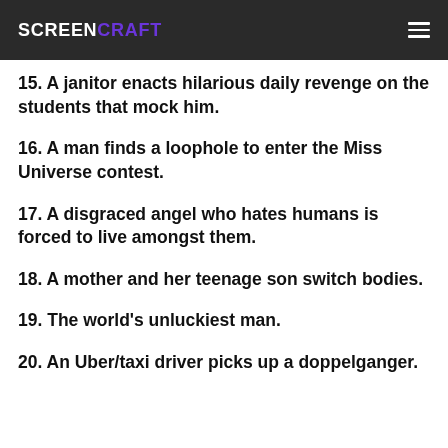SCREENCRAFT
15. A janitor enacts hilarious daily revenge on the students that mock him.
16. A man finds a loophole to enter the Miss Universe contest.
17. A disgraced angel who hates humans is forced to live amongst them.
18. A mother and her teenage son switch bodies.
19. The world's unluckiest man.
20. An Uber/taxi driver picks up a doppelganger.